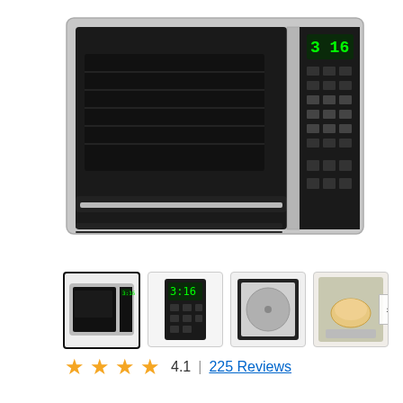[Figure (photo): Product photo of a stainless steel over-the-range microwave oven with black front panel, digital display showing 3:16, and control keypad on the right side]
[Figure (photo): Four thumbnail images of the microwave: front view, side/control panel view, interior open door view, and interior with food view]
4.1  |  225 Reviews
★★★★